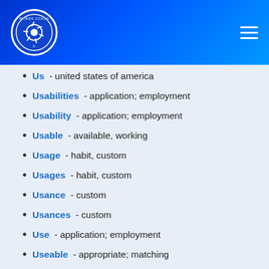Words Coach
Us - united states of america
Usabilities - application; employment
Usability - application; employment
Usable - available, working
Usage - habit, custom
Usages - habit, custom
Usance - custom
Usances - custom
Use - application; employment
Useable - appropriate; matching
Used - secondhand